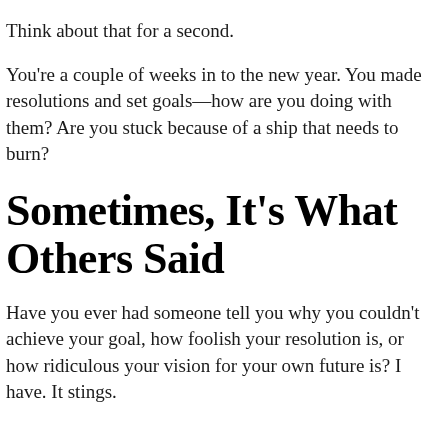Think about that for a second.
You're a couple of weeks in to the new year. You made resolutions and set goals—how are you doing with them? Are you stuck because of a ship that needs to burn?
Sometimes, It's What Others Said
Have you ever had someone tell you why you couldn't achieve your goal, how foolish your resolution is, or how ridiculous your vision for your own future is? I have. It stings.